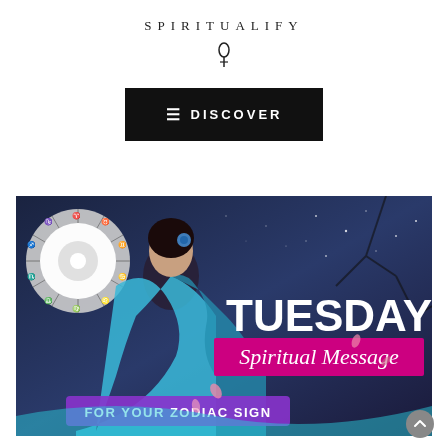SPIRITUALIFY
[Figure (illustration): Small decorative symbol resembling a pin or astrological glyph, centered below the logo]
[Figure (screenshot): Black button with hamburger menu icon and text 'DISCOVER' in white on dark background]
[Figure (illustration): Fantasy illustration of a woman in a flowing blue dress with zodiac wheel, text overlay: TUESDAY'S Spiritual Message FOR YOUR ZODIAC SIGN]